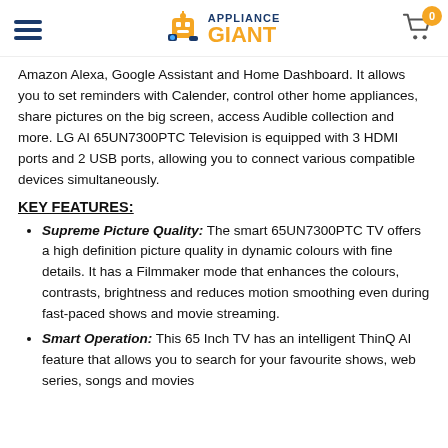Appliance Giant — navigation header with logo and cart
Amazon Alexa, Google Assistant and Home Dashboard. It allows you to set reminders with Calender, control other home appliances, share pictures on the big screen, access Audible collection and more. LG AI 65UN7300PTC Television is equipped with 3 HDMI ports and 2 USB ports, allowing you to connect various compatible devices simultaneously.
KEY FEATURES:
Supreme Picture Quality: The smart 65UN7300PTC TV offers a high definition picture quality in dynamic colours with fine details. It has a Filmmaker mode that enhances the colours, contrasts, brightness and reduces motion smoothing even during fast-paced shows and movie streaming.
Smart Operation: This 65 Inch TV has an intelligent ThinQ AI feature that allows you to search for your favourite shows, web series, songs and movies